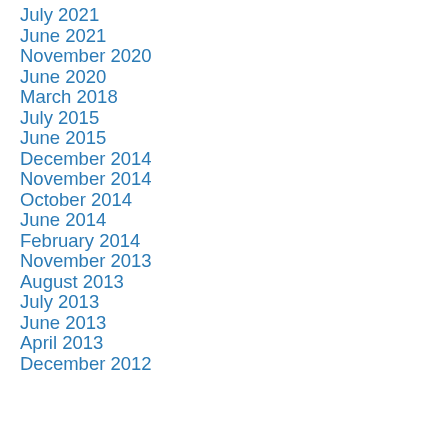July 2021
June 2021
November 2020
June 2020
March 2018
July 2015
June 2015
December 2014
November 2014
October 2014
June 2014
February 2014
November 2013
August 2013
July 2013
June 2013
April 2013
December 2012